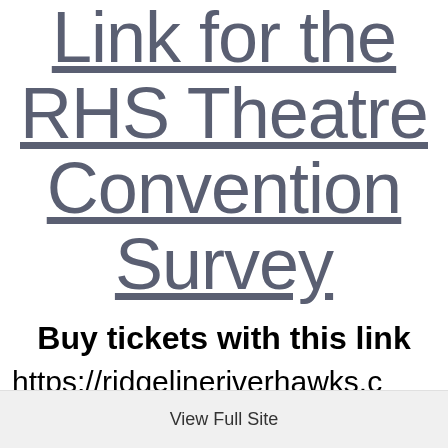Link for the RHS Theatre Convention Survey
Buy tickets with this link
https://ridgelineriverhawks.c
View Full Site